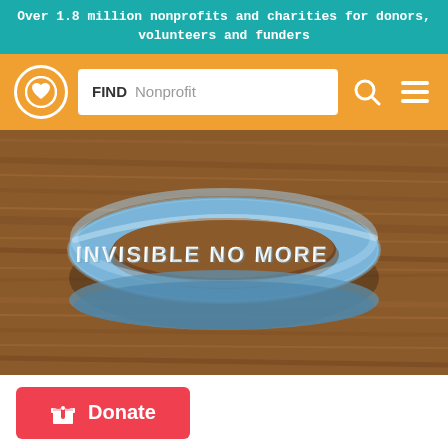Over 1.8 million nonprofits and charities for donors, volunteers and funders
[Figure (screenshot): Navigation bar with logo (heart in circle), search box with FIND Nonprofit placeholder, search icon, and hamburger menu icon on orange background]
[Figure (photo): A light blue silicone wristband/bracelet reading 'INVISIBLE NO MORE' in white raised letters, resting on a wooden surface]
Donate